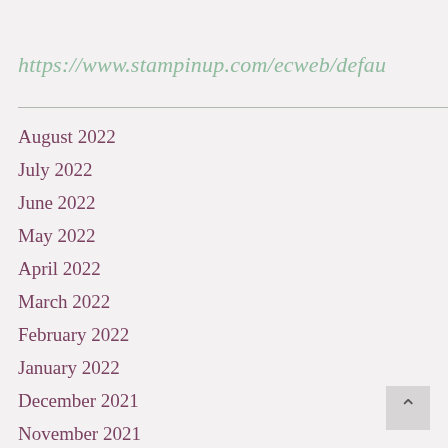https://www.stampinup.com/ecweb/defau
August 2022
July 2022
June 2022
May 2022
April 2022
March 2022
February 2022
January 2022
December 2021
November 2021
October 2021
September 2021